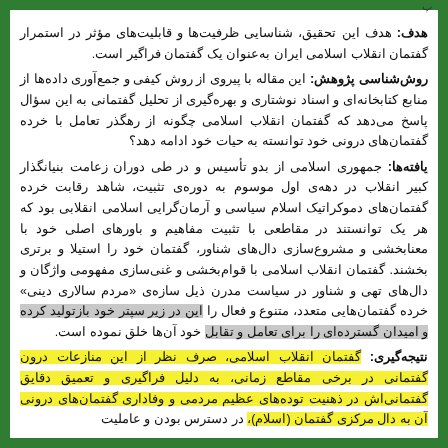هدف: هدف این تحقیق، شناسایی ظرفیت‌ها و قابلیت‌های مؤثر در استمرار گفتمان انقلاب اسلامی ایران به‌عنوان یک گفتمان فراگیر است.
روش‌شناسی پژوهش: این مقاله با پیروی از روش کیفی و جمع‌آوری داده‌ها از منابع کتابخانه‌ای و اسناد نوشتاری و بهره‌گیری از تحلیل گفتمانی به این سؤال پاسخ می‌دهد که گفتمان انقلاب اسلامی چگونه از رهگذر تعامل با خرده گفتمان‌های درونی خود توانسته به حیات خود ادامه دهد؟
یافته‌ها: جمهوری اسلامی از بدو تأسیس و در طی دوران زعامت بنیانگذار کبیر انقلاب در دهه‌ی اول موسوم به دوره‌ی تثبیت، شاهد رقابت خرده گفتمان‌های دموکراتیک اسلام سیاسی و آرمان‌گرایی اسلامی انقلابی بود که هر یک توانستند در مقاطعی با تثبیت مفاهیم و باورهای اصلی خود با معنابخشی و مشروع‌سازی دال‌های شناور، گفتمان خود را استیلا و برتری بخشند. گفتمان انقلاب اسلامی با قوام‌بخشی و غنی‌سازی مفهومی واژگان و دال‌های تهی و شناور در سیاست مدرن ذیل سازه‌ی «مردم سالاری دینی» خرده گفتمان‌هایی متعدد، متنوع و فعال را این در زیر سپتر خود بازتولید کرده و امیدان گسترده‌ای را برای تعامل و تقابل خود آن‌ها خلق نموده است.
نتیجه‌گیری: گفتمان انقلاب اسلامی، صرف نظر از این منازعات درون گفتمانی در برخی مقاطع زمانی، به دلیل فراگیری و تعمیق دقایق گفتمانی‌اش در ذهنیت توده‌های عظیم مردمی و وفاداری گفتمان‌های درونی آن به دال مرکزی گفتمان (اسلام)، در دسترس بودن و عاملیت فرهنگ (تحت سازوکارهای مختلف)...